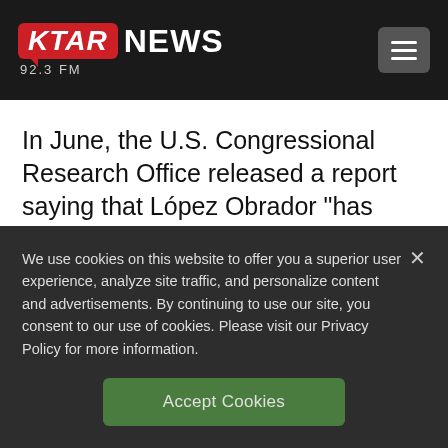[Figure (logo): KTAR NEWS 92.3 FM logo with red speech bubble box and hamburger menu button on dark header bar]
In June, the U.S. Congressional Research Office released a report saying that López Obrador “has advocated policies that focus on the root causes of crime, but his government has not carried out
We use cookies on this website to offer you a superior user experience, analyze site traffic, and personalize content and advertisements. By continuing to use our site, you consent to our use of cookies. Please visit our Privacy Policy for more information.
Accept Cookies